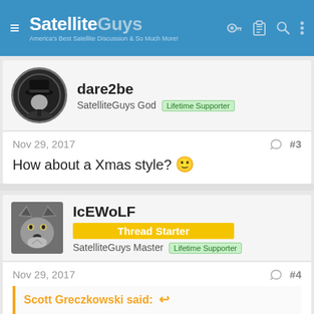SatelliteGuys — America's Best Satellite Discussion & So Much More!
dare2be
SatelliteGuys God  Lifetime Supporter
Nov 29, 2017   #3
How about a Xmas style? 🙂
IcEWoLF
Thread Starter
SatelliteGuys Master  Lifetime Supporter
Nov 29, 2017   #4
Scott Greczkowski said:
I don't think we will be moving anytime soon due to all the Plugins we have which are not yet available